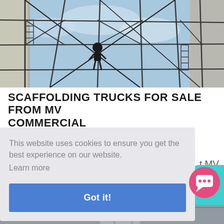[Figure (photo): Upward-looking photograph of scaffolding structure against a blue sky with a worker visible]
SCAFFOLDING TRUCKS FOR SALE FROM MV COMMERCIAL
This website uses cookies to ensure you get the best experience on our website.
Learn more
Got it!
[Figure (photo): Partial bottom photo of another scene, partially visible]